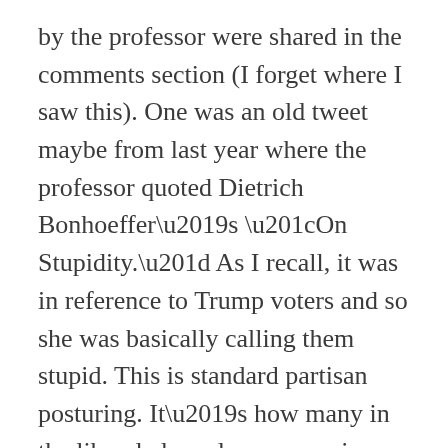by the professor were shared in the comments section (I forget where I saw this). One was an old tweet maybe from last year where the professor quoted Dietrich Bonhoeffer’s “On Stupidity.” As I recall, it was in reference to Trump voters and so she was basically calling them stupid. This is standard partisan posturing. It’s how many in the liberal class always perceive those on the political right, and it is true that the average Republican IQ is lower than the average Democratic IQ, for whatever that is worth (I might argue that this makes the ignorant stupidity seen